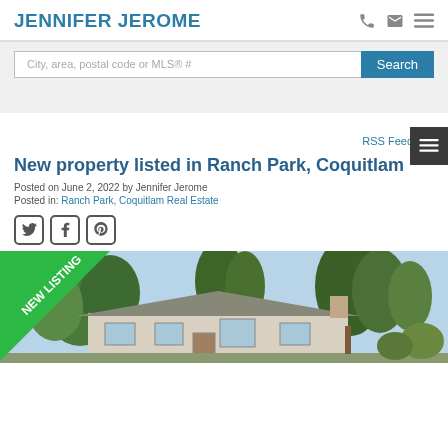JENNIFER JEROME
City, area, postal code or MLS® #
Search
New property listed in Ranch Park, Coquitlam
Posted on June 2, 2022 by Jennifer Jerome
Posted in: Ranch Park, Coquitlam Real Estate
[Figure (photo): House exterior photo with NEW LISTING banner badge in green across the top-left corner]
RSS Feed